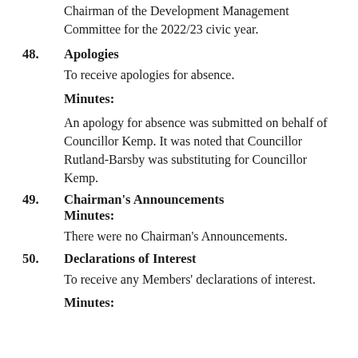Chairman of the Development Management Committee for the 2022/23 civic year.
48. Apologies
To receive apologies for absence.
Minutes:
An apology for absence was submitted on behalf of Councillor Kemp. It was noted that Councillor Rutland-Barsby was substituting for Councillor Kemp.
49. Chairman's Announcements
Minutes:
There were no Chairman's Announcements.
50. Declarations of Interest
To receive any Members' declarations of interest.
Minutes: